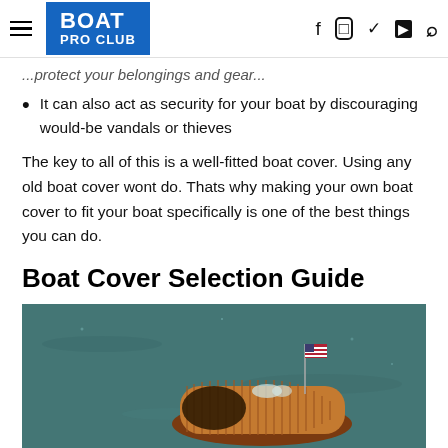BOAT PRO CLUB
It can also act as security for your boat by discouraging would-be vandals or thieves
The key to all of this is a well-fitted boat cover. Using any old boat cover wont do. Thats why making your own boat cover to fit your boat specifically is one of the best things you can do.
Boat Cover Selection Guide
[Figure (photo): Aerial view of a classic wooden boat with striped wood deck and an American flag, floating on dark teal water]